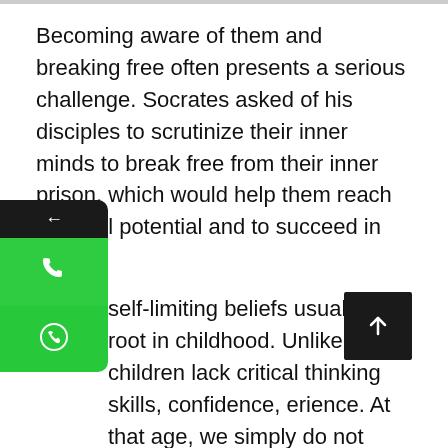Becoming aware of them and breaking free often presents a serious challenge. Socrates asked of his disciples to scrutinize their inner minds to break free from their inner prison, which would help them reach their full potential and to succeed in life.
self-limiting beliefs usually take root in childhood. Unlike ts, children lack critical thinking skills, confidence, erience. At that age, we simply do not know enough to de whether something is good for us.
During early childhood, we rely on these limiting beliefs to guide and protect is. We see them as useful tools. The problem is that as we mature – gain the exper d resources that help ensure our safety – these gradually start to limit us. They become a gilded cage.
When people come up against the same set of problems